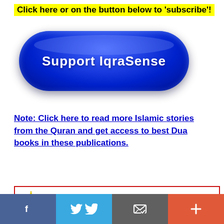Click here or on the button below to 'subscribe'!
[Figure (illustration): A large dark blue pill-shaped button with white bold text reading 'Support IqraSense', with a glossy highlight effect on top]
Note: Click here to read more Islamic stories from the Quran and get access to best Dua books in these publications.
[Figure (illustration): A red-bordered promotional box with a yellow starburst icon, a black right-pointing arrow, and red bold text reading 'Click to See IqraSense Premium Books']
[Figure (infographic): Social sharing bar with four buttons: Facebook (blue), Twitter (light blue), Email (dark gray), and Plus/More (orange-red)]